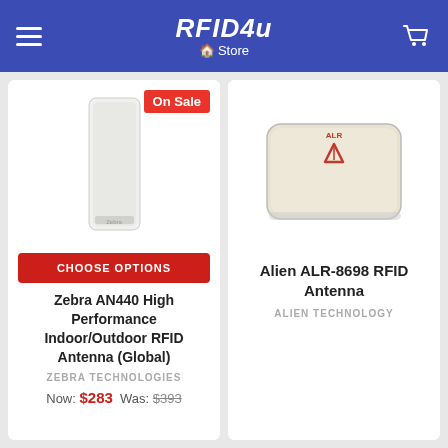RFID4u Store
[Figure (photo): Zebra AN440 RFID antenna - white rectangular panel antenna]
On Sale
CHOOSE OPTIONS
Zebra AN440 High Performance Indoor/Outdoor RFID Antenna (Global)
ZEBRA TECHNOLOGIES
Now: $283  Was: $393
[Figure (photo): Alien ALR-8698 RFID Antenna - white flat rectangular panel]
Alien ALR-8698 RFID Antenna
ALIEN TECHNOLOGY